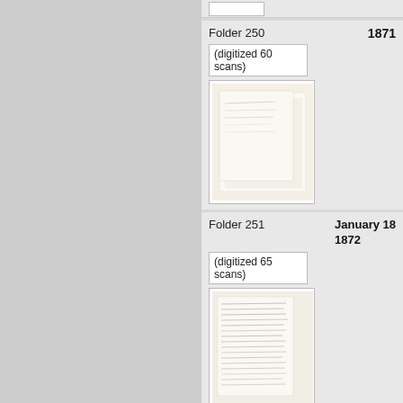Folder 250
1871
(digitized 60 scans)
[Figure (photo): Thumbnail of a handwritten document scan, Folder 250]
Folder 251
January 18 1872
(digitized 65 scans)
[Figure (photo): Thumbnail of a handwritten document scan, Folder 251]
Folder 252
September - December 1
(digitized 67 scans)
[Figure (photo): Thumbnail of a handwritten document scan, Folder 252]